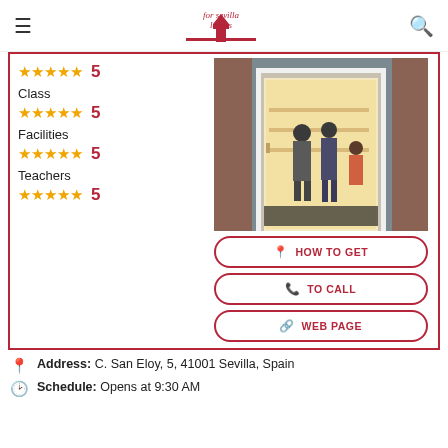for sevilla lovers
★★★★★ 5 — Class — ★★★★★ 5 — Facilities — ★★★★★ 5 — Teachers — ★★★★★ 5
[Figure (photo): Entrance of a shop/cafe with people standing inside, brick wall exterior, warm interior lighting]
HOW TO GET
TO CALL
WEB PAGE
Address: C. San Eloy, 5, 41001 Sevilla, Spain
Schedule: Opens at 9:30 AM